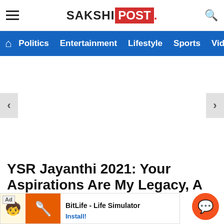SAKSHI POST
Politics Entertainment Lifestyle Sports Vide
[Figure (other): Empty slider/carousel area with left and right navigation arrows on a white background]
YSR Jayanthi 2021: Your Aspirations Are My Legacy, A…
[Figure (other): Ad banner for BitLife - Life Simulator with Install button]